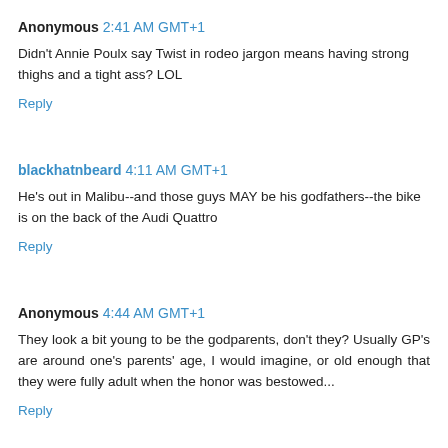Anonymous 2:41 AM GMT+1
Didn't Annie Poulx say Twist in rodeo jargon means having strong thighs and a tight ass? LOL
Reply
blackhatnbeard 4:11 AM GMT+1
He's out in Malibu--and those guys MAY be his godfathers--the bike is on the back of the Audi Quattro
Reply
Anonymous 4:44 AM GMT+1
They look a bit young to be the godparents, don't they? Usually GP's are around one's parents' age, I would imagine, or old enough that they were fully adult when the honor was bestowed...
Reply